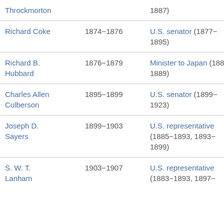| Name | Term | Later office |
| --- | --- | --- |
| Throckmorton |  | 1887) |
| Richard Coke | 1874–1876 | U.S. senator (1877–1895) |
| Richard B. Hubbard | 1876–1879 | Minister to Japan (1885–1889) |
| Charles Allen Culberson | 1895–1899 | U.S. senator (1899–1923) |
| Joseph D. Sayers | 1899–1903 | U.S. representative (1885–1893, 1893–1899) |
| S. W. T. Lanham | 1903–1907 | U.S. representative (1883–1893, 1897– |